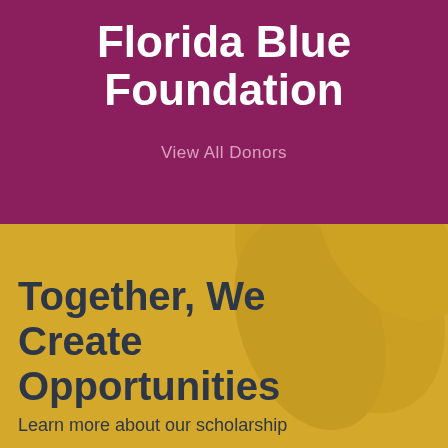Florida Blue Foundation
View All Donors
Together, We Create Opportunities
Learn more about our scholarship